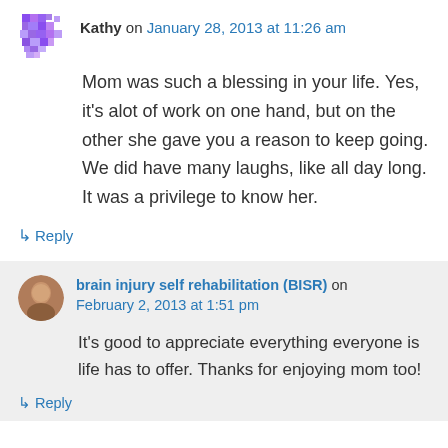Kathy on January 28, 2013 at 11:26 am
Mom was such a blessing in your life. Yes, it's alot of work on one hand, but on the other she gave you a reason to keep going. We did have many laughs, like all day long. It was a privilege to know her.
↳ Reply
brain injury self rehabilitation (BISR) on February 2, 2013 at 1:51 pm
It's good to appreciate everything everyone is life has to offer. Thanks for enjoying mom too!
↳ Reply